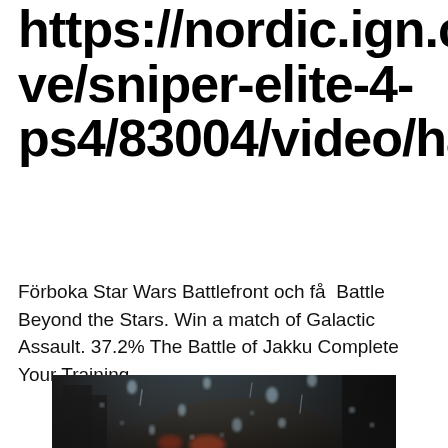https://nordic.ign.com/sve/sniper-elite-4-ps4/83004/video/har
Förboka Star Wars Battlefront och få  Battle Beyond the Stars. Win a match of Galactic Assault. 37.2% The Battle of Jakku Complete Your Training.
[Figure (photo): A rainy window scene with water droplets on glass, showing a blurred cityscape with warm light in the background through the wet window.]